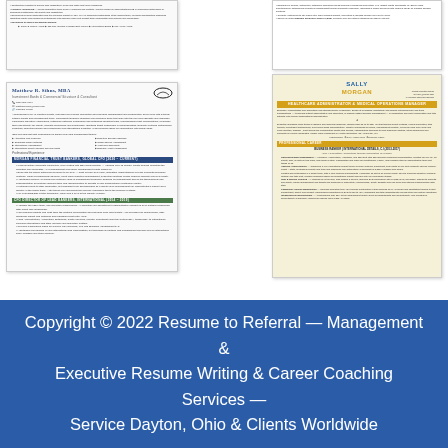[Figure (screenshot): Thumbnail of a resume (top portion visible), showing bullet points of professional experience text]
[Figure (screenshot): Thumbnail of a resume (top portion visible), showing bullet points on the right side]
[Figure (screenshot): Full resume thumbnail for Matthew R. Sihns, MBA - Investment Banks & Commercial Structure & Consultant, with blue section headers and two-column skills layout]
[Figure (screenshot): Full resume thumbnail for Sally Morgan - Healthcare Administrator & Medical Operations Manager, with gold/yellow accent bars on cream background]
Copyright © 2022 Resume to Referral — Management & Executive Resume Writing & Career Coaching Services — Service Dayton, Ohio & Clients Worldwide